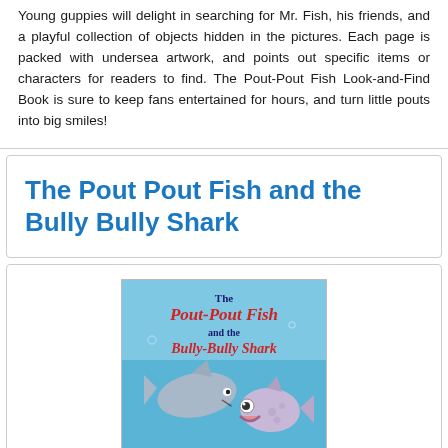Young guppies will delight in searching for Mr. Fish, his friends, and a playful collection of objects hidden in the pictures. Each page is packed with undersea artwork, and points out specific items or characters for readers to find. The Pout-Pout Fish Look-and-Find Book is sure to keep fans entertained for hours, and turn little pouts into big smiles!
The Pout Pout Fish and the Bully Bully Shark
[Figure (illustration): Book cover of 'The Pout-Pout Fish and the Bully-Bully Shark' showing a shark and a pout-pout fish on a blue background]